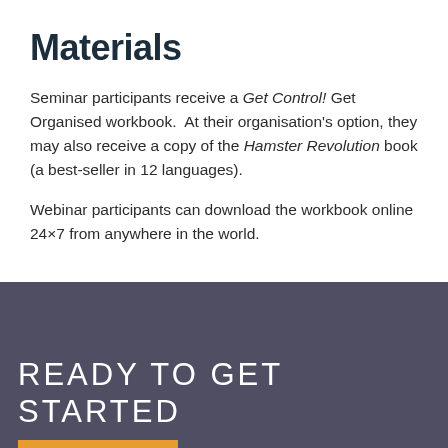Materials
Seminar participants receive a Get Control! Get Organised workbook.  At their organisation's option, they may also receive a copy of the Hamster Revolution book (a best-seller in 12 languages).
Webinar participants can download the workbook online 24×7 from anywhere in the world.
READY TO GET STARTED